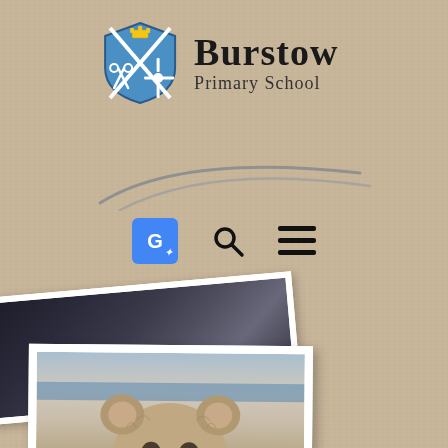[Figure (logo): Burstow Primary School logo with shield crest showing blue shield with crossed keys and windmill, and school name text]
[Figure (illustration): Decorative swoosh/wave graphic in grey-blue tones]
[Figure (screenshot): Navigation bar icons: Google Translate button, search icon, and hamburger menu icon]
[Figure (photo): Partial photograph showing dark clothing/figures, positioned at top-left, rotated slightly]
[Figure (photo): Polaroid-style photograph of a teddy bear with fluffy grey/beige fur, positioned at bottom-left]